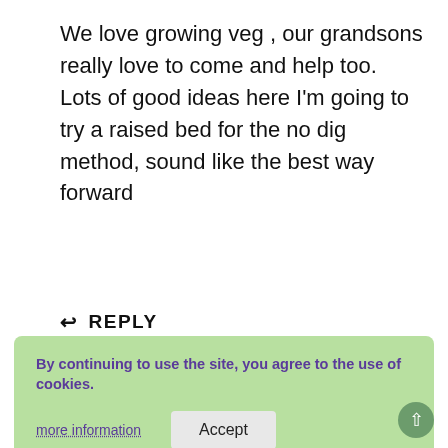We love growing veg , our grandsons really love to come and help too.
Lots of good ideas here I'm going to try a raised bed for the no dig method, sound like the best way forward
↩ REPLY
Louise
April 27, 2019 at 7:10 pm
By continuing to use the site, you agree to the use of cookies.
more information
Accept
Hello,
Good to know you enjoy